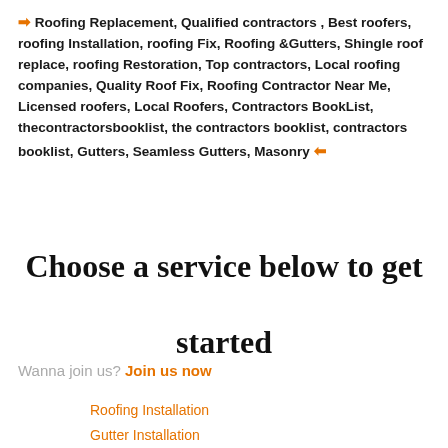➜ Roofing Replacement, Qualified contractors , Best roofers, roofing Installation, roofing Fix, Roofing &Gutters, Shingle roof replace, roofing Restoration, Top contractors, Local roofing companies, Quality Roof Fix, Roofing Contractor Near Me, Licensed roofers, Local Roofers, Contractors BookList, thecontractorsbooklist, the contractors booklist, contractors booklist, Gutters, Seamless Gutters, Masonry ←
Choose a service below to get started
Wanna join us? Join us now
Roofing Installation
Gutter Installation